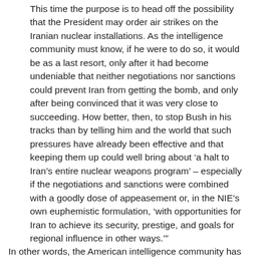This time the purpose is to head off the possibility that the President may order air strikes on the Iranian nuclear installations. As the intelligence community must know, if he were to do so, it would be as a last resort, only after it had become undeniable that neither negotiations nor sanctions could prevent Iran from getting the bomb, and only after being convinced that it was very close to succeeding. How better, then, to stop Bush in his tracks than by telling him and the world that such pressures have already been effective and that keeping them up could well bring about ‘a halt to Iran’s entire nuclear weapons program’ – especially if the negotiations and sanctions were combined with a goodly dose of appeasement or, in the NIE’s own euphemistic formulation, ‘with opportunities for Iran to achieve its security, prestige, and goals for regional influence in other ways.’”
In other words, the American intelligence community has